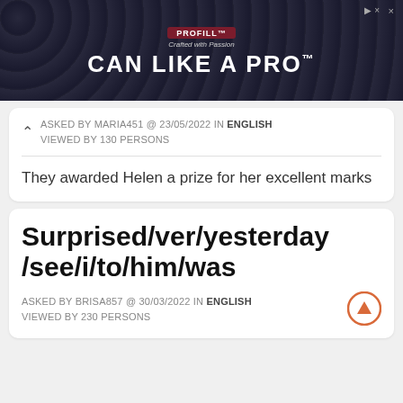[Figure (screenshot): Advertisement banner for PROFILL 'CAN LIKE A PRO' product with dark background showing metallic cans]
ASKED BY MARIA451 @ 23/05/2022 IN ENGLISH
VIEWED BY 130 PERSONS
They awarded Helen a prize for her excellent marks
Surprised/ver/yesterday/see/i/to/him/was
ASKED BY BRISA857 @ 30/03/2022 IN ENGLISH
VIEWED BY 230 PERSONS